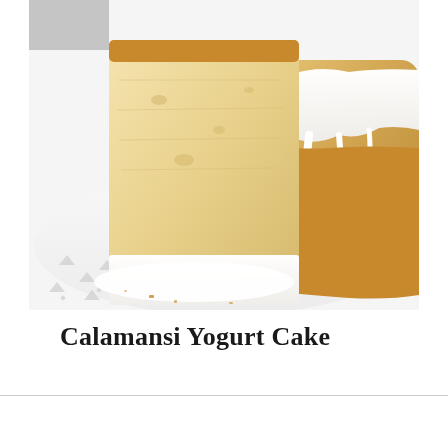[Figure (photo): Close-up photo of a calamansi yogurt cake with white glaze/icing drizzled over it, showing a sliced piece revealing the golden interior crumb, placed on a decorative white doily or lace paper on a white surface. The glaze drips down the side of the remaining bundt-style loaf on the right.]
Calamansi Yogurt Cake